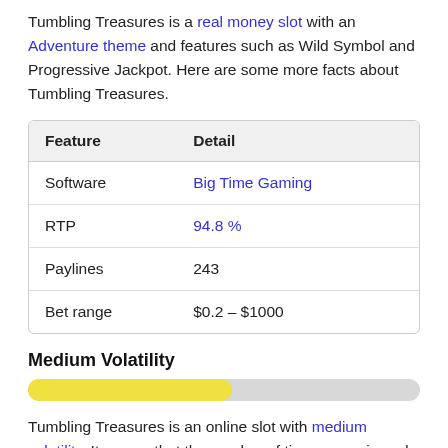Tumbling Treasures is a real money slot with an Adventure theme and features such as Wild Symbol and Progressive Jackpot. Here are some more facts about Tumbling Treasures.
| Feature | Detail |
| --- | --- |
| Software | Big Time Gaming |
| RTP | 94.8 % |
| Paylines | 243 |
| Bet range | $0.2 – $1000 |
Medium Volatility
[Figure (infographic): Horizontal progress bar showing medium volatility level, approximately 52% filled with yellow/gold color on a light gray background.]
Tumbling Treasures is an online slot with medium volatility. It means that the number of times you win and